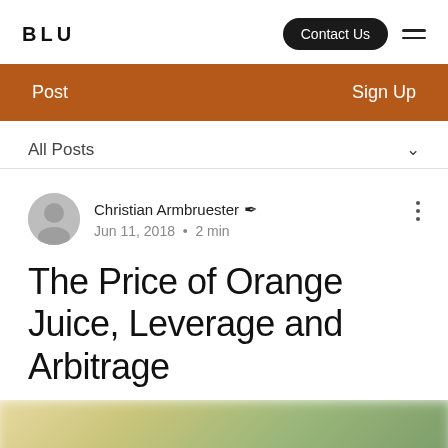BLU
Contact Us
Post   Sign Up
All Posts
Christian Armbruester  Jun 11, 2018 · 2 min
The Price of Orange Juice, Leverage and Arbitrage
[Figure (photo): Blurred image at the bottom of the page, appears to be a food/juice related photo with green and yellow tones]